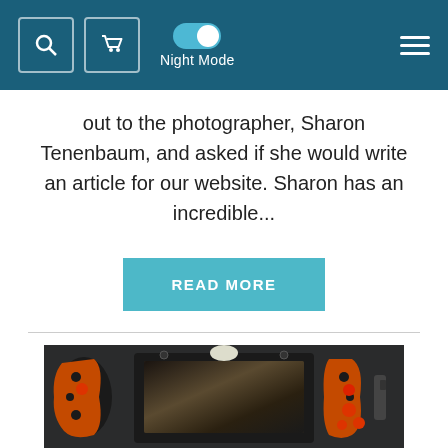Night Mode (toggle on)
out to the photographer, Sharon Tenenbaum, and asked if she would write an article for our website. Sharon has an incredible...
READ MORE
[Figure (photo): Close-up photo of an underwater camera housing with orange ergonomic handles/grips on both sides, a square viewfinder/screen in the center, and a white circular element on top. The housing is dark/black colored and appears to be a professional underwater photography housing.]